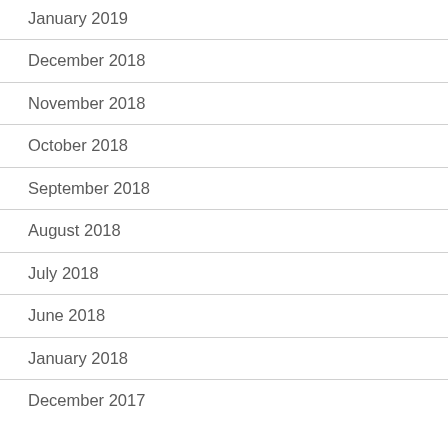January 2019
December 2018
November 2018
October 2018
September 2018
August 2018
July 2018
June 2018
January 2018
December 2017